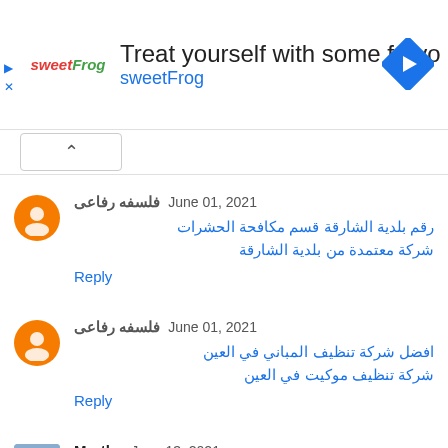[Figure (infographic): Advertisement banner for sweetFrog frozen yogurt: logo on left, headline 'Treat yourself with some froyo', brand name 'sweetFrog', navigation icon on right]
فلسفه رفاعى  June 01, 2021
رقم بلدية الشارقة قسم مكافحة الحشرات
شركة معتمدة من بلدية الشارقة
Reply
فلسفه رفاعى  June 01, 2021
افضل شركة تنظيف المباني في العين
شركة تنظيف موكيت في العين
Reply
Martha  June 13, 2021
I'm here to testify about what DR. OYAGU did for me.